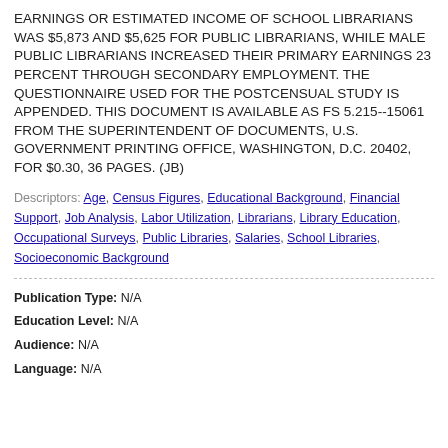EARNINGS OR ESTIMATED INCOME OF SCHOOL LIBRARIANS WAS $5,873 AND $5,625 FOR PUBLIC LIBRARIANS, WHILE MALE PUBLIC LIBRARIANS INCREASED THEIR PRIMARY EARNINGS 23 PERCENT THROUGH SECONDARY EMPLOYMENT. THE QUESTIONNAIRE USED FOR THE POSTCENSUAL STUDY IS APPENDED. THIS DOCUMENT IS AVAILABLE AS FS 5.215--15061 FROM THE SUPERINTENDENT OF DOCUMENTS, U.S. GOVERNMENT PRINTING OFFICE, WASHINGTON, D.C. 20402, FOR $0.30, 36 PAGES. (JB)
Descriptors: Age, Census Figures, Educational Background, Financial Support, Job Analysis, Labor Utilization, Librarians, Library Education, Occupational Surveys, Public Libraries, Salaries, School Libraries, Socioeconomic Background
Publication Type: N/A
Education Level: N/A
Audience: N/A
Language: N/A